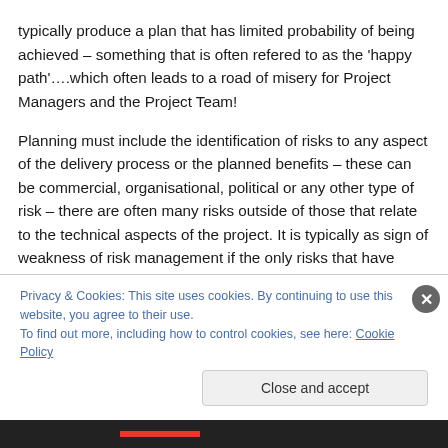typically produce a plan that has limited probability of being achieved – something that is often refered to as the 'happy path'….which often leads to a road of misery for Project Managers and the Project Team!
Planning must include the identification of risks to any aspect of the delivery process or the planned benefits – these can be commercial, organisational, political or any other type of risk – there are often many risks outside of those that relate to the technical aspects of the project. It is typically as sign of weakness of risk management if the only risks that have been identified are technical. Risk
Privacy & Cookies: This site uses cookies. By continuing to use this website, you agree to their use.
To find out more, including how to control cookies, see here: Cookie Policy
Close and accept